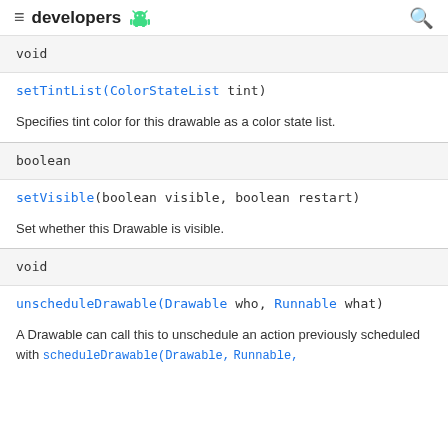developers
void
setTintList(ColorStateList tint)
Specifies tint color for this drawable as a color state list.
boolean
setVisible(boolean visible, boolean restart)
Set whether this Drawable is visible.
void
unscheduleDrawable(Drawable who, Runnable what)
A Drawable can call this to unschedule an action previously scheduled with scheduleDrawable(Drawable, Runnable,